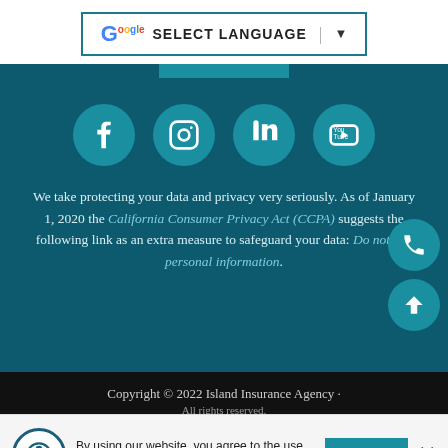[Figure (other): Google Translate widget with SELECT LANGUAGE button and dropdown arrow, inside a teal-bordered box]
[Figure (other): Row of four social media icon circles (Facebook, Instagram, LinkedIn, YouTube) on dark teal background]
We take protecting your data and privacy very seriously. As of January 1, 2020 the California Consumer Privacy Act (CCPA) suggests the following link as an extra measure to safeguard your data: Do not sell personal information.
[Figure (other): Floating phone icon circle and up-arrow circle on the right side]
Copyright © 2022 Island Insurance Agency · All rights reserved.
By using our website, you agree to the use of cookies as described in our Cookie Policy   ACCEPT  ✕